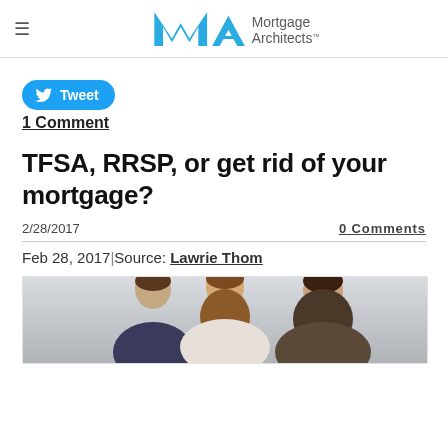Mortgage Architects
[Figure (other): Tweet button - blue rounded button with Twitter bird icon and text 'Tweet']
1 Comment
TFSA, RRSP, or get rid of your mortgage?
2/28/2017
0 Comments
Feb 28, 2017 | Source: Lawrie Thom
[Figure (photo): Photo of three people (two women and a man) smiling, cropped at bottom of page]